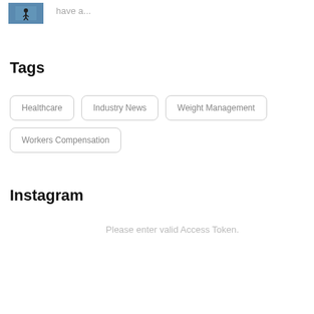[Figure (photo): Small thumbnail image showing a person, blue/dark tones]
have a...
Tags
Healthcare
Industry News
Weight Management
Workers Compensation
Instagram
Please enter valid Access Token.